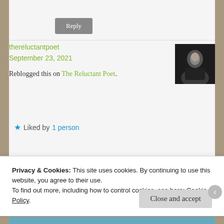Reply
thereluctantpoet
September 23, 2021
Reblogged this on The Reluctant Poet.
Liked by 1 person
Reply
Privacy & Cookies: This site uses cookies. By continuing to use this website, you agree to their use.
To find out more, including how to control cookies, see here: Cookie Policy
Close and accept